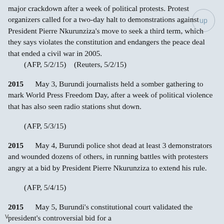major crackdown after a week of political protests. Protest organizers called for a two-day halt to demonstrations against President Pierre Nkurunziza's move to seek a third term, which they says violates the constitution and endangers the peace deal that ended a civil war in 2005.
    (AFP, 5/2/15)    (Reuters, 5/2/15)
2015      May 3, Burundi journalists held a somber gathering to mark World Press Freedom Day, after a week of political violence that has also seen radio stations shut down.
    (AFP, 5/3/15)
2015      May 4, Burundi police shot dead at least 3 demonstrators and wounded dozens of others, in running battles with protesters angry at a bid by President Pierre Nkurunziza to extend his rule.
    (AFP, 5/4/15)
2015      May 5, Burundi's constitutional court validated the president's controversial bid for a